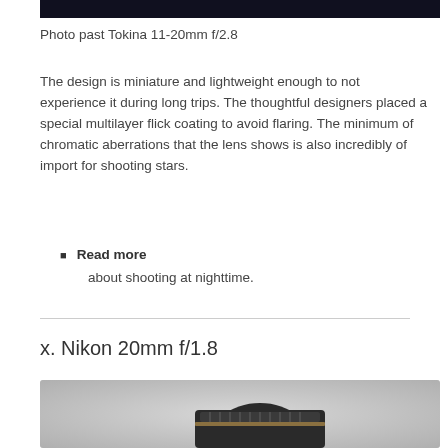[Figure (photo): Dark top image strip, partial view of a night photography scene]
Photo past Tokina 11-20mm f/2.8
The design is miniature and lightweight enough to not experience it during long trips. The thoughtful designers placed a special multilayer flick coating to avoid flaring. The minimum of chromatic aberrations that the lens shows is also incredibly of import for shooting stars.
Read more
about shooting at nighttime.
x. Nikon 20mm f/1.8
[Figure (photo): Photo of a Nikon 20mm f/1.8 camera lens on a light gray background]